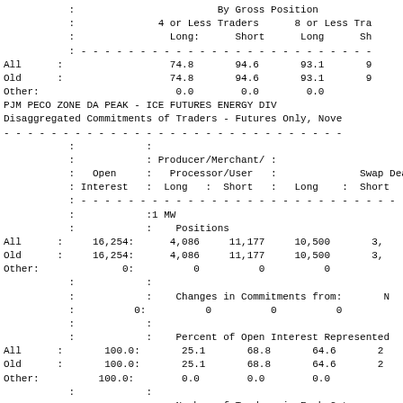|  |  | By Gross Position |  |  |  |
| --- | --- | --- | --- | --- | --- |
|  |  | 4 or Less Traders |  | 8 or Less Tra |  |
|  |  | Long: | Short | Long | Sh |
| All | : | 74.8 | 94.6 | 93.1 | 9 |
| Old | : | 74.8 | 94.6 | 93.1 | 9 |
| Other: |  | 0.0 | 0.0 | 0.0 |  |
PJM PECO ZONE DA PEAK - ICE FUTURES ENERGY DIV
disaggregated Commitments of Traders - Futures Only, Nove
|  | Open Interest | Producer/Merchant/Processor/User Long | Short | Long | Swap Dea Short |
| --- | --- | --- | --- | --- | --- |
|  | :1 MW |  |  |  |  |
|  |  | Positions |  |  |  |
| All | 16,254: | 4,086 | 11,177 | 10,500 | 3, |
| Old | 16,254: | 4,086 | 11,177 | 10,500 | 3, |
| Other: | 0: | 0 | 0 | 0 |  |
|  |  | Changes in Commitments from: |  |  | N |
|  | 0: | 0 | 0 | 0 |  |
|  |  | Percent of Open Interest Represented |  |  |  |
| All | 100.0: | 25.1 | 68.8 | 64.6 | 2 |
| Old | 100.0: | 25.1 | 68.8 | 64.6 | 2 |
| Other: | 100.0: | 0.0 | 0.0 | 0.0 |  |
|  |  | Number of Traders in Each Category |  |  |  |